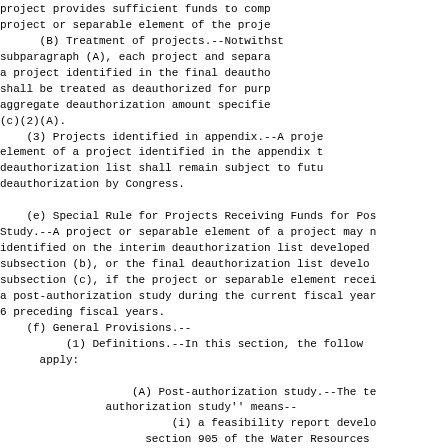project provides sufficient funds to comp project or separable element of the proje (B) Treatment of projects.--Notwithst subparagraph (A), each project and separa a project identified in the final deautho shall be treated as deauthorized for purp aggregate deauthorization amount specifie (c)(2)(A). (3) Projects identified in appendix.--A proje element of a project identified in the appendix t deauthorization list shall remain subject to futu deauthorization by Congress.
(e) Special Rule for Projects Receiving Funds for Pos Study.--A project or separable element of a project may n identified on the interim deauthorization list developed subsection (b), or the final deauthorization list develo subsection (c), if the project or separable element recei a post-authorization study during the current fiscal year 6 preceding fiscal years.
(f) General Provisions.-- (1) Definitions.--In this section, the follow apply: (A) Post-authorization study.--The te authorization study'' means-- (i) a feasibility report develo section 905 of the Water Resources of 1986 (33 U.S.C. 2282); (ii) a feasibility study, as de section 105(d) of the Water Resourc